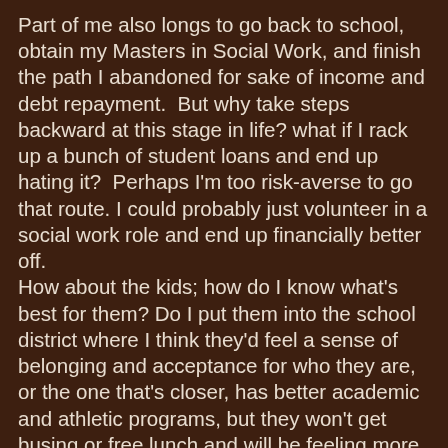Part of me also longs to go back to school, obtain my Masters in Social Work, and finish the path I abandoned for sake of income and debt repayment.  But why take steps backward at this stage in life? what if I rack up a bunch of student loans and end up hating it?  Perhaps I'm too risk-averse to go that route. I could probably just volunteer in a social work role and end up financially better off. How about the kids; how do I know what's best for them? Do I put them into the school district where I think they'd feel a sense of belonging and acceptance for who they are, or the one that's closer, has better academic and athletic programs, but they won't get busing or free lunch and will be feeling more pressure to "keep up with the Jones'?"  Do I spend our free time chasing down specialists and therapies to ensure they're getting the best possible medical care for their conditions and staying at the front of issues before they show up, or just let them be kids, and handle problems as they arise?  Do we enroll them in as many extracurricular activities as possible to ensure maximum exposure and chances to find their niche, or let them just rest, play and go to bed early? HOW DO PEOPLE FIGURE THIS STUFF OUT?!  HOW DO YOU EVER KNOW IF YOU'RE DOING